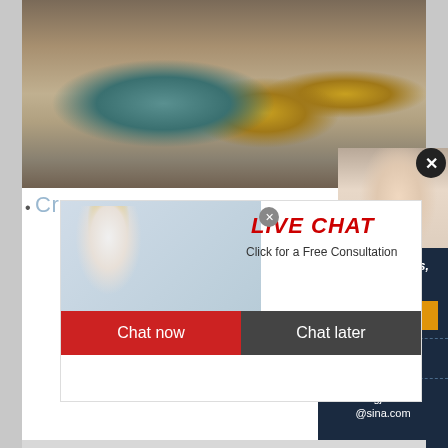[Figure (photo): Quarry/aggregate crushing site with machinery, conveyor equipment, excavators, and sand/gravel piles]
Crus
[Figure (photo): Live chat popup overlay showing workers in yellow hard hats and text 'LIVE CHAT - Click for a Free Consultation' with Chat now and Chat later buttons]
[Figure (photo): Customer service agent (woman with headset, smiling) in top right corner with X close button]
JEFFREY, 34 FT Aggregate Equipment - Crusher, Pa... Crushers, 2 pallets of parts, strike plates and breaker... each or 18,... Iron City Supply - Website. Some...
ave any requests, click here.
Quotation
Enquiry
limingjlmofen@sina.com
CHAT ONLINE